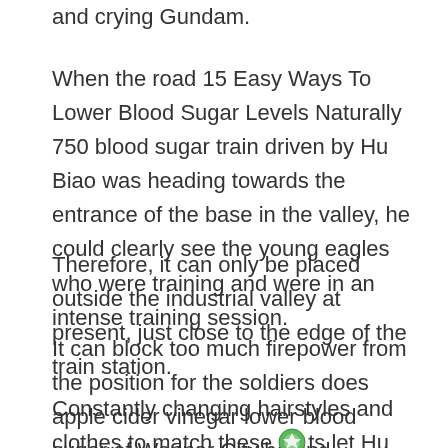and crying Gundam.
When the road 15 Easy Ways To Lower Blood Sugar Levels Naturally 750 blood sugar train driven by Hu Biao was heading towards the entrance of the base in the valley, he could clearly see the young eagles who were training and were in an intense training session.
Therefore, it can only be placed outside the industrial valley at present, just close to the edge of the train station.
It can block too much firepower from the position for the soldiers does apple cider vinegar lower blood sugar of Wenner City behind.
Constantly changing hairstyles and clothes to match these its let Hu Biao make comments.